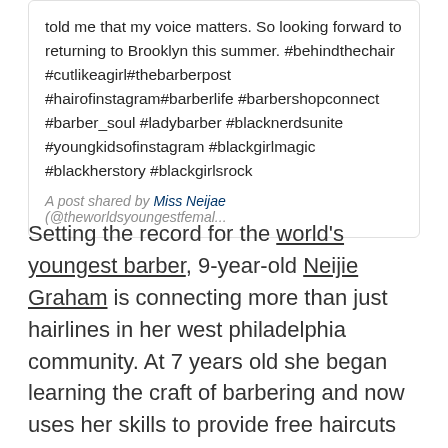told me that my voice matters. So looking forward to returning to Brooklyn this summer. #behindthechair #cutlikeagirl#thebarberpost #hairofinstagram#barberlife #barbershopconnect #barber_soul #ladybarber #blacknerdsunite #youngkidsofinstagram #blackgirlmagic #blackherstory #blackgirlsrock
A post shared by Miss Neijae (@theworldsyoungestfemal...
Setting the record for the world's youngest barber, 9-year-old Neijie Graham is connecting more than just hairlines in her west philadelphia community. At 7 years old she began learning the craft of barbering and now uses her skills to provide free haircuts for the homeless in Philly.